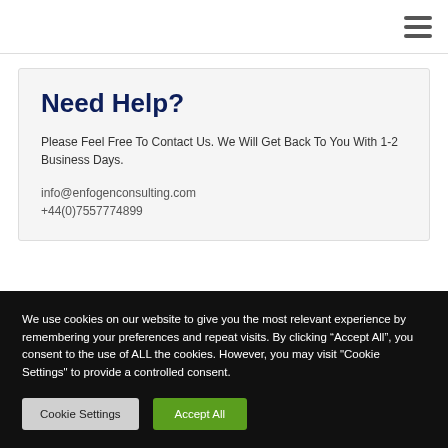☰ (hamburger menu icon)
Need Help?
Please Feel Free To Contact Us. We Will Get Back To You With 1-2 Business Days.
info@enfogenconsulting.com
+44(0)7557774899
We use cookies on our website to give you the most relevant experience by remembering your preferences and repeat visits. By clicking “Accept All”, you consent to the use of ALL the cookies. However, you may visit "Cookie Settings" to provide a controlled consent.
Cookie Settings | Accept All